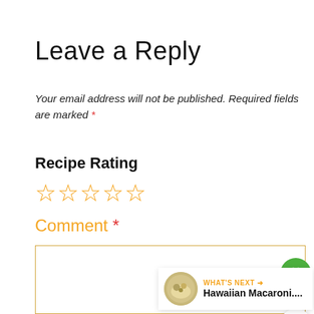Leave a Reply
Your email address will not be published. Required fields are marked *
Recipe Rating
☆☆☆☆☆
Comment *